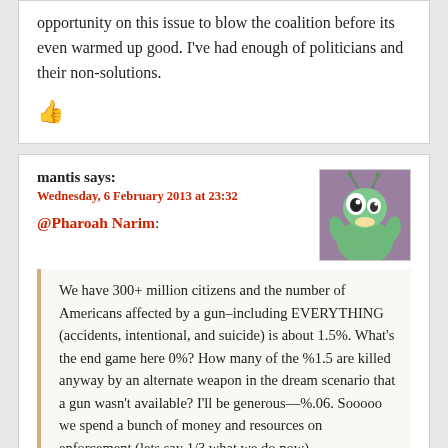opportunity on this issue to blow the coalition before its even warmed up good. I've had enough of politicians and their non-solutions.
👍
mantis says:
Wednesday, 6 February 2013 at 23:32
@Pharoah Narim:
[Figure (photo): Avatar image of a cartoon mantis character with large eyes, green/teal coloring, against a purple background]
We have 300+ million citizens and the number of Americans affected by a gun–including EVERYTHING (accidents, intentional, and suicide) is about 1.5%. What's the end game here 0%? How many of the %1.5 are killed anyway by an alternate weapon in the dream scenario that a gun wasn't available? I'll be generous—%.06. Sooooo we spend a bunch of money and resources on enforcement (lets say 1/3 what we do now)